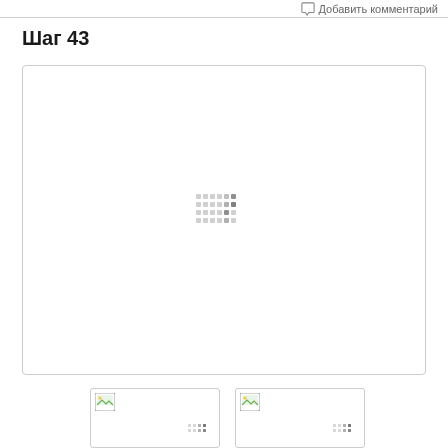Добавить комментарий
Шаг 43
[Figure (photo): Large image placeholder with loading spinner (dots pattern) in the center, inside a rounded rectangle box]
[Figure (photo): Thumbnail image placeholder with image icon and loading spinner]
[Figure (photo): Thumbnail image placeholder with image icon and loading spinner]